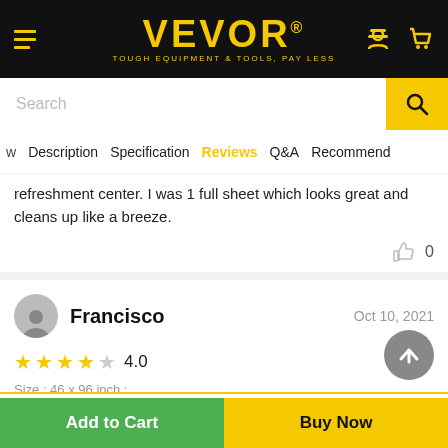[Figure (screenshot): VEVOR website header with logo, menu icon, user icon, cart icon]
[Figure (screenshot): Search bar with search button]
w  Description  Specification  Reviews  Q&A  Recommend
refreshment center. I was 1 full sheet which looks great and cleans up like a breeze.
0
Francisco  Oct 10, 2021
4.0
Size : 46 x 96 inch ;